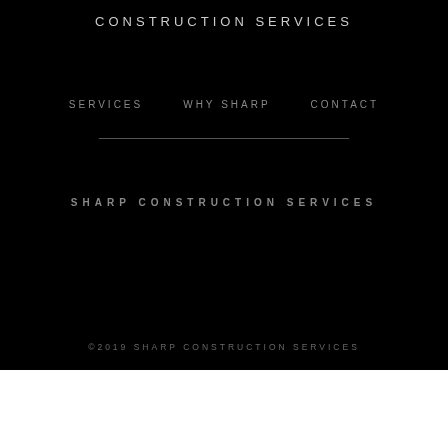CONSTRUCTION SERVICES
SERVICES   WHY SHARP   CONTACT
SHARP CONSTRUCTION SERVICES
©2019 SHARP CONSTRUCTION SERVICES
SHARE ON